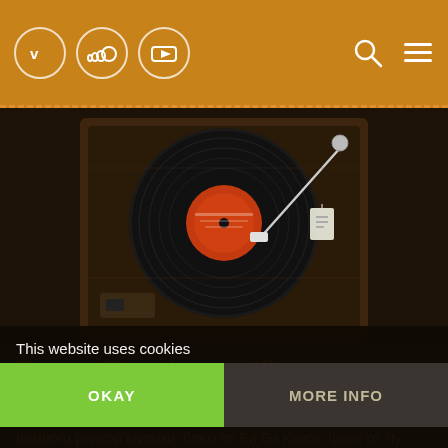Navigation bar with Vimeo, SoundCloud, YouTube icons and search/menu icons
[Figure (photo): A vintage vinyl record turntable/record player with a black vinyl record on the platter, wood cabinet, dark background]
Функции Фанка (выпуск 41)
в это раз, как и обычно, небольшая подборка фанк, соул и диско музыки. достаточное количество классики, а так же немного редкой музыки. блюз от Би Би Кинга, фанк от Лу Кортни, диско от Paramour. всего понемногу от конца 60х до начала 80х. так же немного внимания уделил саундтрекам: Hell's Belles, Five on the Black Hand Side, Planet Of The Apes. отличные фильмы, кстати. очень рекомендую их посмотреть,
This website uses cookies
OKAY
MORE INFO